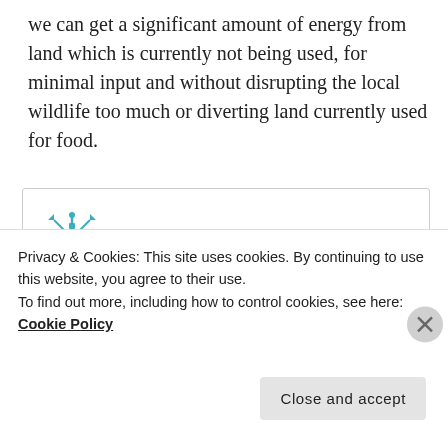we can get a significant amount of energy from land which is currently not being used, for minimal input and without disrupting the local wildlife too much or diverting land currently used for food.
[Figure (logo): Science Deobfuscator logo — teal/blue geometric snowflake-like icon]
Science Deobfuscator
Bioenergy receives a lot of attention as a fossil-fuel alternative.  In principle, it's a renewable resource, as well as being approximately carbon neutral (it neither adds nor removes carbon
Privacy & Cookies: This site uses cookies. By continuing to use this website, you agree to their use.
To find out more, including how to control cookies, see here: Cookie Policy
Close and accept